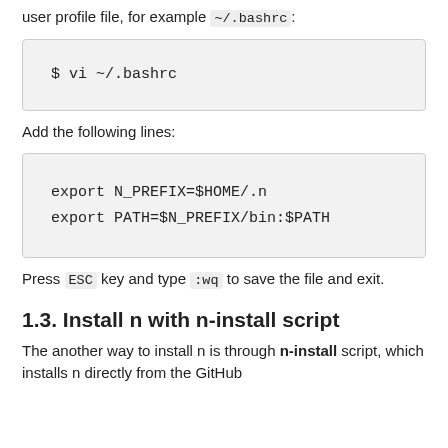user profile file, for example ~/.bashrc:
$ vi ~/.bashrc
Add the following lines:
export N_PREFIX=$HOME/.n
export PATH=$N_PREFIX/bin:$PATH
Press ESC key and type :wq to save the file and exit.
1.3. Install n with n-install script
The another way to install n is through n-install script, which installs n directly from the GitHub